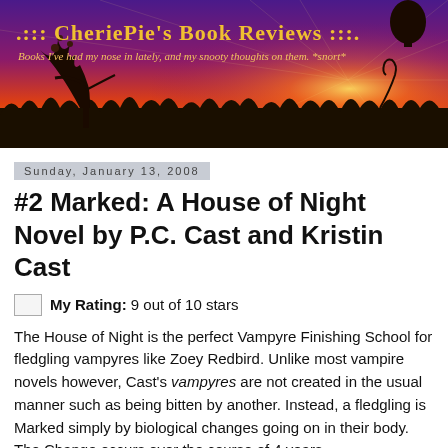[Figure (illustration): Banner header for CheriePie's Book Reviews blog. Purple and orange sunset background with silhouettes of trees and grass. Text reads '.::: CheriePie's Book Reviews :::.' and subtitle 'Books I've had my nose in lately, and my snooty thoughts on them. *snort*'. A hot air balloon silhouette is visible in the upper right.]
Sunday, January 13, 2008
#2 Marked: A House of Night Novel by P.C. Cast and Kristin Cast
My Rating: 9 out of 10 stars
The House of Night is the perfect Vampyre Finishing School for fledgling vampyres like Zoey Redbird. Unlike most vampire novels however, Cast's vampyres are not created in the usual manner such as being bitten by another. Instead, a fledgling is Marked simply by biological changes going on in their body. The Change occurs over the course of 4 years,